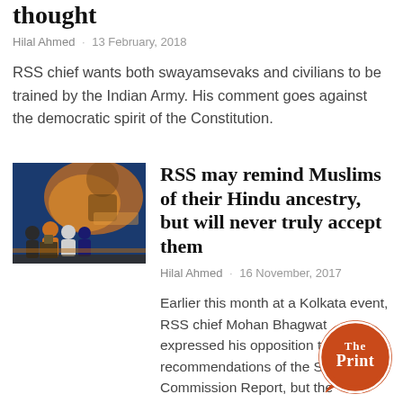thought
Hilal Ahmed · 13 February, 2018
RSS chief wants both swayamsevaks and civilians to be trained by the Indian Army. His comment goes against the democratic spirit of the Constitution.
[Figure (photo): A group of people on stage at what appears to be an RSS or Hindu organization event, with colorful backdrop]
RSS may remind Muslims of their Hindu ancestry, but will never truly accept them
Hilal Ahmed · 16 November, 2017
Earlier this month at a Kolkata event, RSS chief Mohan Bhagwat expressed his opposition to the recommendations of the Sachar Commission Report, but the connection he tries to establish between
[Figure (logo): The Print logo - circular orange badge with white text reading 'The Print']